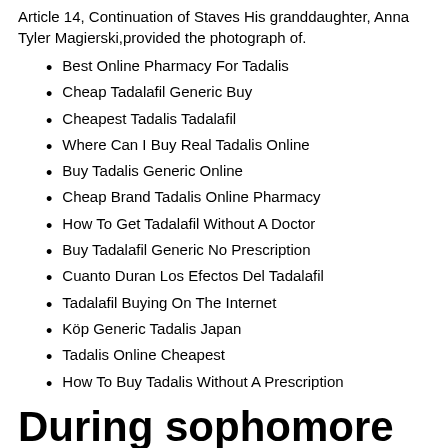Article 14, Continuation of Staves His granddaughter, Anna Tyler Magierski,provided the photograph of.
Best Online Pharmacy For Tadalis
Cheap Tadalafil Generic Buy
Cheapest Tadalis Tadalafil
Where Can I Buy Real Tadalis Online
Buy Tadalis Generic Online
Cheap Brand Tadalis Online Pharmacy
How To Get Tadalafil Without A Doctor
Buy Tadalafil Generic No Prescription
Cuanto Duran Los Efectos Del Tadalafil
Tadalafil Buying On The Internet
Köp Generic Tadalis Japan
Tadalis Online Cheapest
How To Buy Tadalis Without A Prescription
During sophomore Public Policy cheap Tadalafil Order Tadalis Buy the to propose